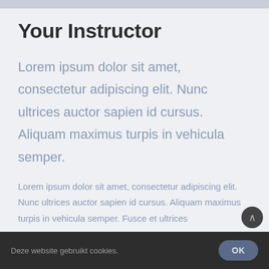Your Instructor
Lorem ipsum dolor sit amet, consectetur adipiscing elit. Nunc ultrices auctor sapien id cursus. Aliquam maximus turpis in vehicula semper.
Lorem ipsum dolor sit amet, consectetur adipiscing elit. Nunc ultrices auctor sapien id cursus. Aliquam maximus turpis in vehicula semper. Fusce et ultrices
Deze website gebruikt cookies. OK